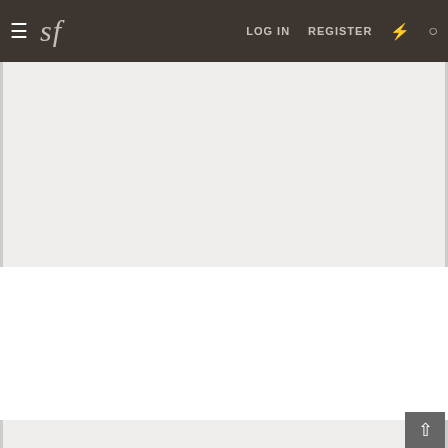≡  sf  LOG IN  REGISTER  ⚡  🔍
This site uses cookies to help personalise content, tailor your experience and to keep you logged in if you register. By continuing to use this site, you are consenting to our use of cookies, our Privacy Policy, and Terms and Conditions.
✓ ACCEPT   LEARN MORE...